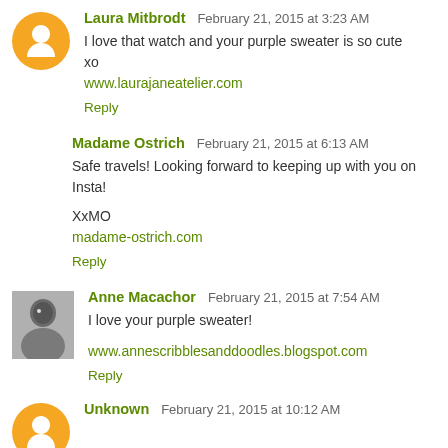Laura Mitbrodt — February 21, 2015 at 3:23 AM
I love that watch and your purple sweater is so cute
xo
www.laurajaneatelier.com
Reply
Madame Ostrich — February 21, 2015 at 6:13 AM
Safe travels! Looking forward to keeping up with you on Insta!
XxMO
madame-ostrich.com
Reply
Anne Macachor — February 21, 2015 at 7:54 AM
I love your purple sweater!
www.annescribblesanddoodles.blogspot.com
Reply
Unknown — February 21, 2015 at 10:12 AM